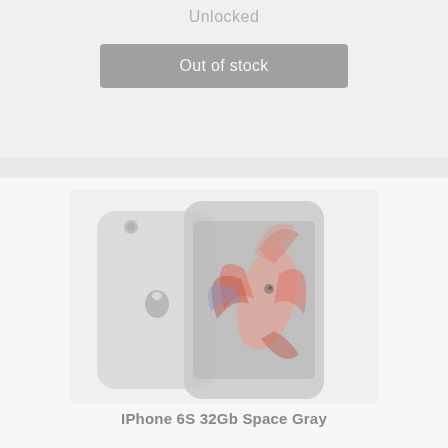Unlocked
Out of stock
[Figure (photo): iPhone 6S product photo showing back and front view side by side, displayed in a faded/muted style]
IPhone 6S 32Gb Space Gray